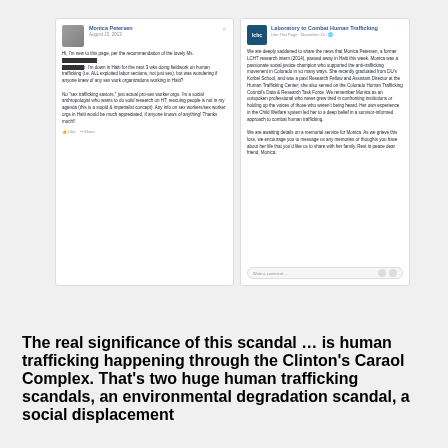[Figure (screenshot): Two Facebook screenshots side by side. Left: Monica Petersen Facebook post from August 15, 2013 asking about sex work organizations in Haiti. Right: Laboratory to Combat Human Trafficking (LCHC) Facebook post announcing the passing of Monica Petersen, a former LCHT research intern, who passed away in Haiti.]
The real significance of this scandal … is human trafficking happening through the Clinton's Caraol Complex. That's two huge human trafficking scandals, an environmental degradation scandal, a social displacement